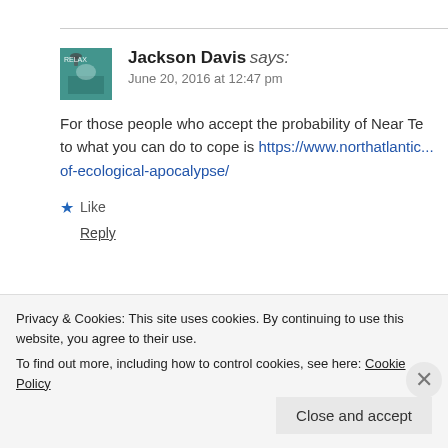[Figure (illustration): Small avatar image of Jackson Davis showing a teal/green background with a bird silhouette]
Jackson Davis says:
June 20, 2016 at 12:47 pm
For those people who accept the probability of Near Te... to what you can do to cope is https://www.northatlantic.../of-ecological-apocalypse/
★ Like
Reply
Ryan Atkins says:
Privacy & Cookies: This site uses cookies. By continuing to use this website, you agree to their use.
To find out more, including how to control cookies, see here: Cookie Policy
Close and accept